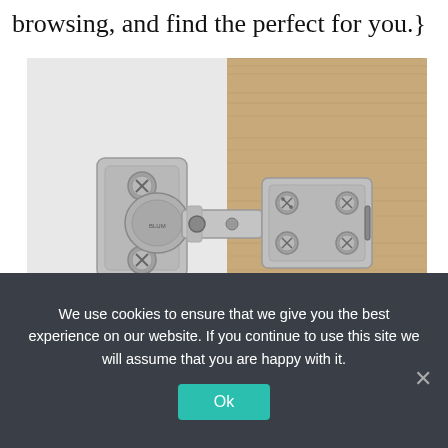browsing, and find the perfect for you.}
[Figure (photo): Close-up photo of a metal cabinet hinge attached between a white door panel and a wood-grain cabinet surface. The hinge is brushed nickel/chrome finish with visible Phillips-head screws on the mounting plates.]
We use cookies to ensure that we give you the best experience on our website. If you continue to use this site we will assume that you are happy with it.